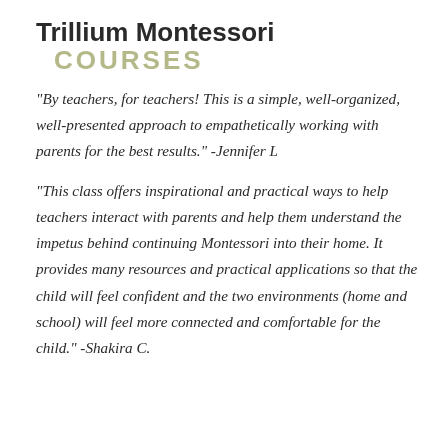Trillium Montessori COURSES
"By teachers, for teachers! This is a simple, well-organized, well-presented approach to empathetically working with parents for the best results." -Jennifer L
"This class offers inspirational and practical ways to help teachers interact with parents and help them understand the impetus behind continuing Montessori into their home. It provides many resources and practical applications so that the child will feel confident and the two environments (home and school) will feel more connected and comfortable for the child." -Shakira C.